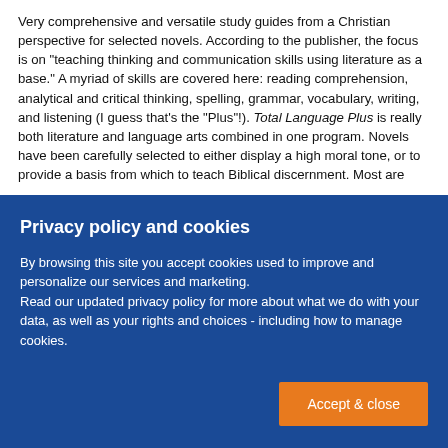Very comprehensive and versatile study guides from a Christian perspective for selected novels. According to the publisher, the focus is on "teaching thinking and communication skills using literature as a base." A myriad of skills are covered here: reading comprehension, analytical and critical thinking, spelling, grammar, vocabulary, writing, and listening (I guess that's the "Plus"!). Total Language Plus is really both literature and language arts combined in one program. Novels have been carefully selected to either display a high moral tone, or to provide a basis from which to teach Biblical discernment. Most are
Privacy policy and cookies
By browsing this site you accept cookies used to improve and personalize our services and marketing.
Read our updated privacy policy for more about what we do with your data, as well as your rights and choices - including how to manage cookies.